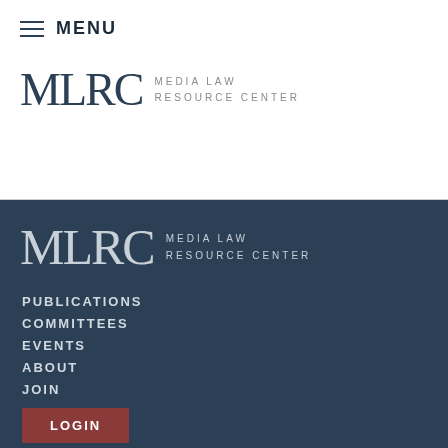MENU
[Figure (logo): MLRC Media Law Resource Center logo (dark blue serif letters MLRC with text MEDIA LAW RESOURCE CENTER)]
[Figure (logo): MLRC Media Law Resource Center logo in white/light on dark navy background]
PUBLICATIONS
COMMITTEES
EVENTS
ABOUT
JOIN
LOGIN